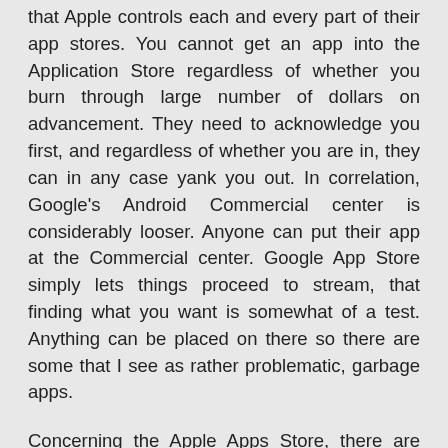that Apple controls each and every part of their app stores. You cannot get an app into the Application Store regardless of whether you burn through large number of dollars on advancement. They need to acknowledge you first, and regardless of whether you are in, they can in any case yank you out. In correlation, Google's Android Commercial center is considerably looser. Anyone can put their app at the Commercial center. Google App Store simply lets things proceed to stream, that finding what you want is somewhat of a test. Anything can be placed on there so there are some that I see as rather problematic, garbage apps.
Concerning the Apple Apps Store, there are great deals of apps there that are not recommendable for anybody to utilize. Presently despite the fact that Google is more merciful in screening out their apps, they actually have the ability to take out apps from the Android Commercial center, same similarly as with Apple's Application Store, simply more open. However, they might close a thing or an app engineer down. There is no quality control in the Android Commercial